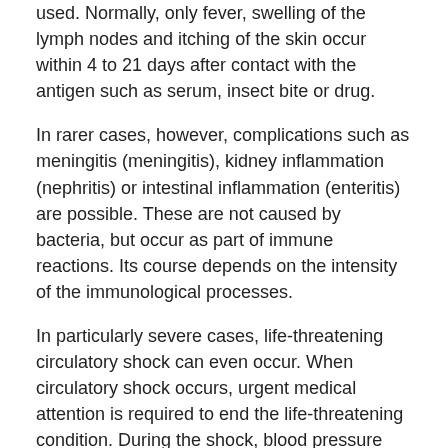used. Normally, only fever, swelling of the lymph nodes and itching of the skin occur within 4 to 21 days after contact with the antigen such as serum, insect bite or drug.
In rarer cases, however, complications such as meningitis (meningitis), kidney inflammation (nephritis) or intestinal inflammation (enteritis) are possible. These are not caused by bacteria, but occur as part of immune reactions. Its course depends on the intensity of the immunological processes.
In particularly severe cases, life-threatening circulatory shock can even occur. When circulatory shock occurs, urgent medical attention is required to end the life-threatening condition. During the shock, blood pressure drops very sharply. Cold sweats, cyanosis, and thirst also appear. This leads to an undersupply of the body and especially the brain with oxygen.
Sudden kidney failure can also occur. The main focus in the treatment of shock must be the stabilization of the blood pressure. In the vast majority of cases, however, treatment for serum sickness is not necessary because the symptoms go away on their own. However, in particularly severe cases, immunosuppressants such as corticosteroids must be given.